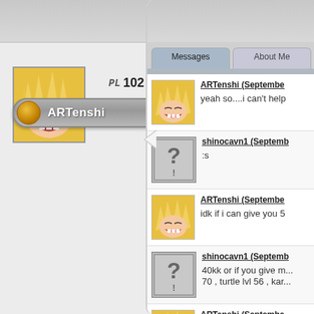[Figure (screenshot): Game profile page screenshot showing user ARTenshi with level 102, anime avatar, and a messages panel with chat messages between ARTenshi and shinocavn1]
PL 102
ARTenshi
Messages
About Me
ARTenshi (Septembe...
yeah so....i can't help
shinocavn1 (Septemb...
:s
ARTenshi (Septembe...
idk if i can give you 5
shinocavn1 (Septemb...
40kk or if you give m... 70 , turtle lvl 56 , kar...
ARTenshi (Septembe...